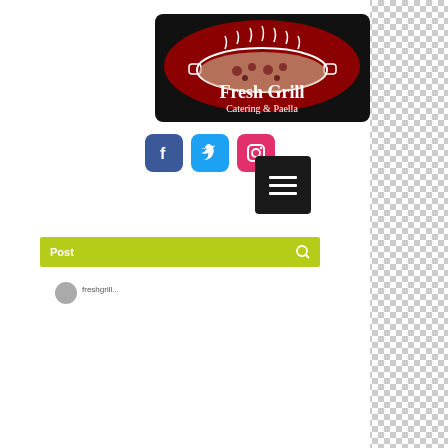[Figure (logo): Fresh Grill Catering & Paella logo: dark oval with paella dish illustration and white text]
[Figure (infographic): Social media icons: Facebook (blue), Twitter (cyan), Instagram (pink/magenta) rounded square buttons]
[Figure (infographic): Black hamburger menu button with three white horizontal lines]
Post
freshgrill...